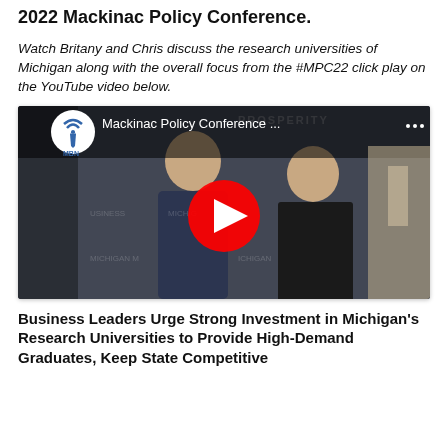2022 Mackinac Policy Conference.
Watch Britany and Chris discuss the research universities of Michigan along with the overall focus from the #MPC22 click play on the YouTube video below.
[Figure (screenshot): YouTube video thumbnail showing two people in conversation at the Mackinac Policy Conference, with a red YouTube play button overlay and MBN channel logo in the top-left corner. Title text reads 'Mackinac Policy Conference ...']
Business Leaders Urge Strong Investment in Michigan's Research Universities to Provide High-Demand Graduates, Keep State Competitive